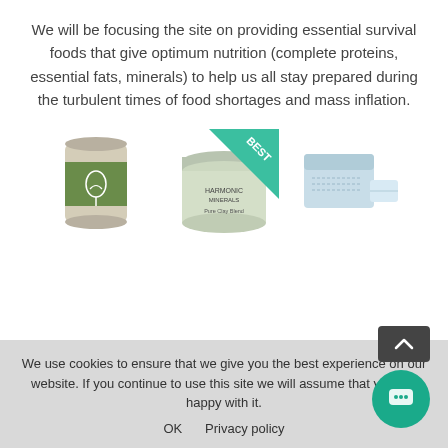We will be focusing the site on providing essential survival foods that give optimum nutrition (complete proteins, essential fats, minerals) to help us all stay prepared during the turbulent times of food shortages and mass inflation.
[Figure (photo): Three product images: a green-labeled can, a jar of Harmonic Minerals Pure Clay Blend with a green 'BEST' banner, and a blue box of supplement packets.]
We use cookies to ensure that we give you the best experience on our website. If you continue to use this site we will assume that you are happy with it.
OK   Privacy policy